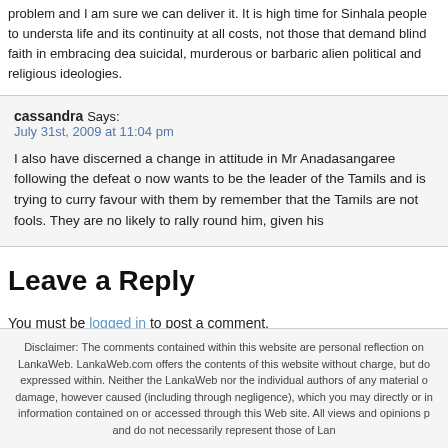problem and I am sure we can deliver it. It is high time for Sinhala people to understand life and its continuity at all costs, not those that demand blind faith in embracing dea suicidal, murderous or barbaric alien political and religious ideologies.
cassandra Says:
July 31st, 2009 at 11:04 pm
I also have discerned a change in attitude in Mr Anadasangaree following the defeat o now wants to be the leader of the Tamils and is trying to curry favour with them by remember that the Tamils are not fools. They are no likely to rally round him, given his
Leave a Reply
You must be logged in to post a comment.
Disclaimer: The comments contained within this website are personal reflection on LankaWeb. LankaWeb.com offers the contents of this website without charge, but do expressed within. Neither the LankaWeb nor the individual authors of any material o damage, however caused (including through negligence), which you may directly or in information contained on or accessed through this Web site. All views and opinions p and do not necessarily represent those of Lan